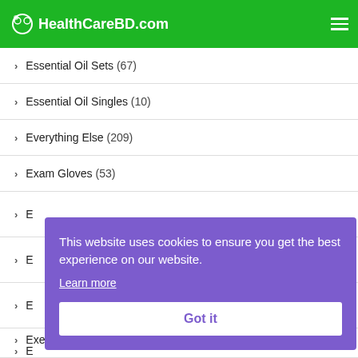HealthCareBD.com
Essential Oil Sets (67)
Essential Oil Singles (10)
Everything Else (209)
Exam Gloves (53)
E...
E...
E...
E...
E...
Exercise Balls and Accessories (117)
This website uses cookies to ensure you get the best experience on our website. Learn more Got it